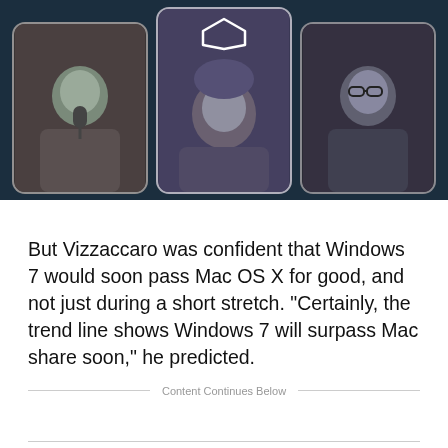[Figure (screenshot): Video conference screenshot showing three people in rounded rectangle thumbnails on a dark background, with a geometric logo/icon overlay on the center thumbnail.]
But Vizzaccaro was confident that Windows 7 would soon pass Mac OS X for good, and not just during a short stretch. "Certainly, the trend line shows Windows 7 will surpass Mac share soon," he predicted.
Content Continues Below
In fact, Windows' overall market share of 92.64% for the week of Nov. 15–21, was slightly